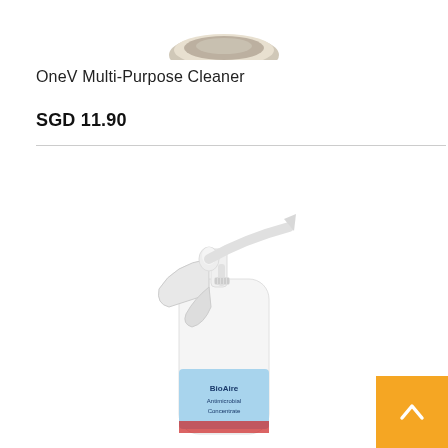[Figure (photo): Partial top view of a round container product (OneV Multi-Purpose Cleaner) showing lid]
OneV Multi-Purpose Cleaner
SGD 11.90
[Figure (photo): BioAire Antimicrobial Concentrate spray bottle with white trigger sprayer, light blue label visible at bottom]